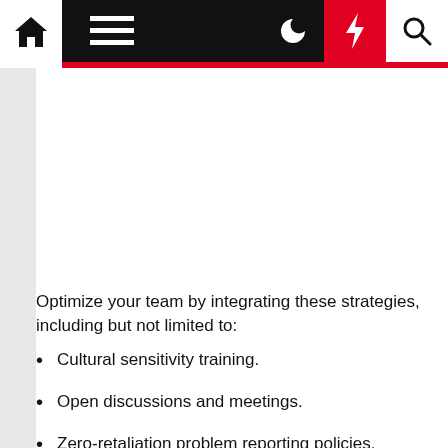[Figure (screenshot): Website navigation bar with home icon, hamburger menu, dark mode toggle, lightning/bolt icon on red background, and search icon]
Optimize your team by integrating these strategies, including but not limited to:
Cultural sensitivity training.
Open discussions and meetings.
Zero-retaliation problem reporting policies.
Flexibility and work-life balance for...